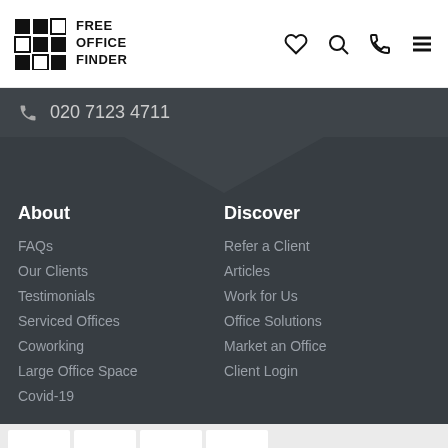Free Office Finder — logo and nav icons
020 7123 4711
About
FAQs
Our Clients
Testimonials
Serviced Offices
Coworking
Large Office Space
Covid-19
Discover
Refer a Client
Articles
Work for Us
Office Solutions
Market an Office
Client Login
Social links: Facebook, Twitter, LinkedIn, Link